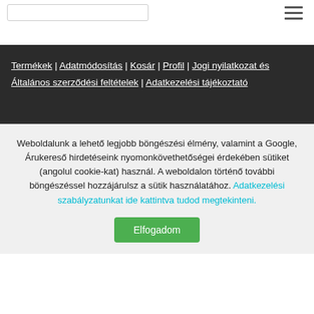[Figure (screenshot): Top navigation bar with search box and hamburger menu icon]
Termékek | Adatmódosítás | Kosár | Profil | Jogi nyilatkozat és Általános szerződési feltételek | Adatkezelési tájékoztató
Weboldalunk a lehető legjobb böngészési élmény, valamint a Google, Árukereső hirdetéseink nyomonkövethetőségei érdekében sütiket (angolul cookie-kat) használ. A weboldalon történő további böngészéssel hozzájárulsz a sütik használatához. Adatkezelési szabályzatunkat ide kattintva tudod megtekinteni.
Elfogadom